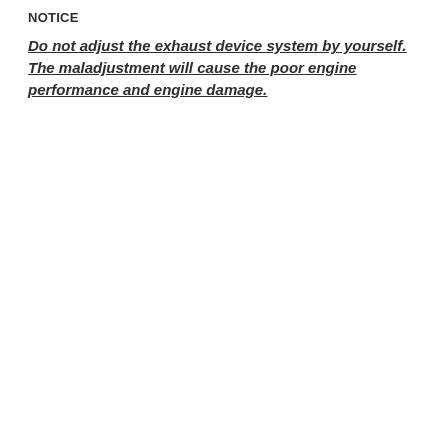NOTICE
Do not adjust the exhaust device system by yourself. The maladjustment will cause the poor engine performance and engine damage.